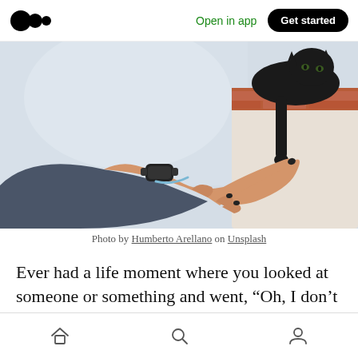Medium logo | Open in app | Get started
[Figure (photo): A person's hand with black nails and a smartwatch reaching up to touch a black cat's paw resting on a brick and white wall ledge]
Photo by Humberto Arellano on Unsplash
Ever had a life moment where you looked at someone or something and went, “Oh, I don’t
Home | Search | Profile icons